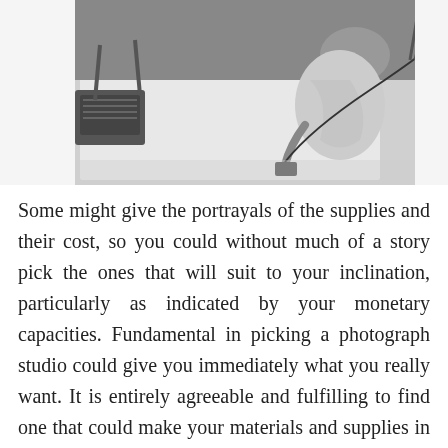[Figure (photo): Black and white overhead photo of a person working in a photo studio, with equipment and a laptop visible on the floor.]
Some might give the portrayals of the supplies and their cost, so you could without much of a story pick the ones that will suit to your inclination, particularly as indicated by your monetary capacities. Fundamental in picking a photograph studio could give you immediately what you really want. It is entirely agreeable and fulfilling to find one that could make your materials and supplies in a moment access and could extend to highlights that will create your